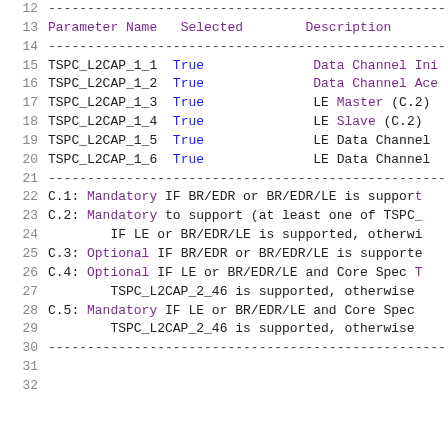Line 12: separator
Line 13: Parameter Name   Selected        Description
Line 14: separator
Line 15: TSPC_L2CAP_1_1   True   Data Channel In...
Line 16: TSPC_L2CAP_1_2   True   Data Channel Ac...
Line 17: TSPC_L2CAP_1_3   True   LE Master (C.2)
Line 18: TSPC_L2CAP_1_4   True   LE Slave (C.2)
Line 19: TSPC_L2CAP_1_5   True   LE Data Channel...
Line 20: TSPC_L2CAP_1_6   True   LE Data Channel...
Line 21: separator
Line 22: C.1: Mandatory IF BR/EDR or BR/EDR/LE is support...
Line 23: C.2: Mandatory to support (at least one of TSPC...
Line 24:         IF LE or BR/EDR/LE is supported, otherw...
Line 25: C.3: Optional IF BR/EDR or BR/EDR/LE is supporte...
Line 26: C.4: Optional IF LE or BR/EDR/LE and Core Spec...
Line 27:         TSPC_L2CAP_2_46 is supported, otherwise...
Line 28: C.5: Mandatory IF LE or BR/EDR/LE and Core Spec...
Line 29:         TSPC_L2CAP_2_46 is supported, otherwise...
Line 30: separator
Line 31: (blank)
Line 32: (blank)